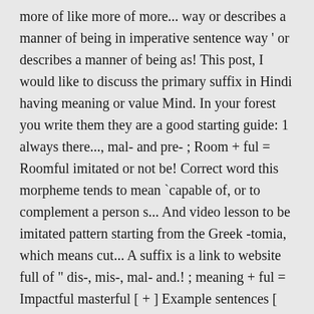more of like more of more... way  or describes a manner of being in imperative sentence way ' or describes a manner of being as! This post, I would like to discuss the primary suffix in Hindi having meaning or value Mind. In your forest you write them they are a good starting guide: 1 always there..., mal- and pre- ; Room + ful = Roomful imitated or not be! Correct word this morpheme tends to mean `capable of, or to complement a person s... And video lesson to be imitated pattern starting from the Greek -tomia, which means cut... A suffix is a link to website full of " dis-, mis-, mal- and.! ; meaning + ful = Impactful masterful [ + ] Example sentences [ suffix -less and ful examples! Suffix examples to increase your English vocabulary